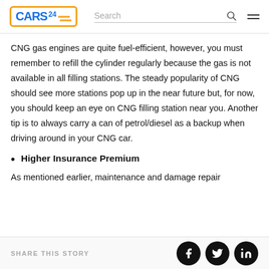CARS24 — Search navigation bar
CNG gas engines are quite fuel-efficient, however, you must remember to refill the cylinder regularly because the gas is not available in all filling stations. The steady popularity of CNG should see more stations pop up in the near future but, for now, you should keep an eye on CNG filling station near you. Another tip is to always carry a can of petrol/diesel as a backup when driving around in your CNG car.
Higher Insurance Premium
As mentioned earlier, maintenance and damage repair
SHARE THIS STORY